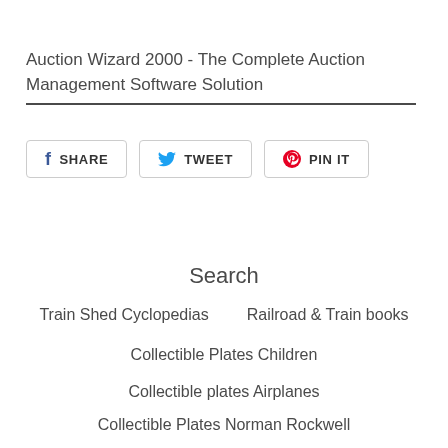Auction Wizard 2000 - The Complete Auction Management Software Solution
[Figure (infographic): Social sharing buttons: Facebook SHARE, Twitter TWEET, Pinterest PIN IT]
Search
Train Shed Cyclopedias
Railroad & Train books
Collectible Plates Children
Collectible plates Airplanes
Collectible Plates Norman Rockwell